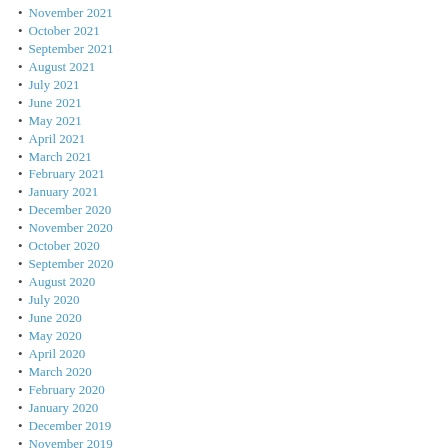November 2021
October 2021
September 2021
August 2021
July 2021
June 2021
May 2021
April 2021
March 2021
February 2021
January 2021
December 2020
November 2020
October 2020
September 2020
August 2020
July 2020
June 2020
May 2020
April 2020
March 2020
February 2020
January 2020
December 2019
November 2019
October 2019
September 2019